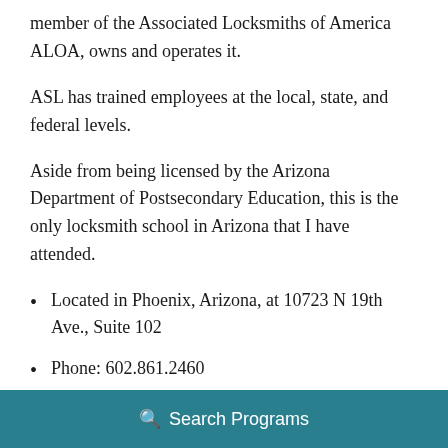member of the Associated Locksmiths of America ALOA, owns and operates it.
ASL has trained employees at the local, state, and federal levels.
Aside from being licensed by the Arizona Department of Postsecondary Education, this is the only locksmith school in Arizona that I have attended.
Located in Phoenix, Arizona, at 10723 N 19th Ave., Suite 102
Phone: 602.861.2460
Email: info@arizonaschooloflocksmithing
Search Programs